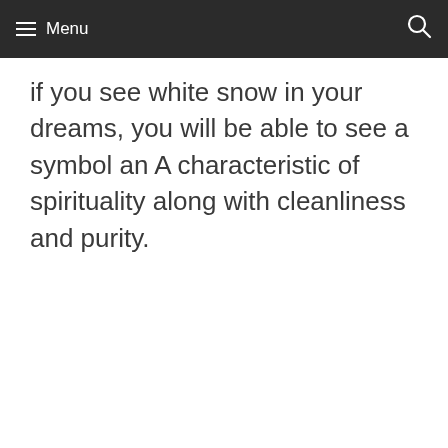Menu
if you see white snow in your dreams, you will be able to see a symbol an A characteristic of spirituality along with cleanliness and purity.